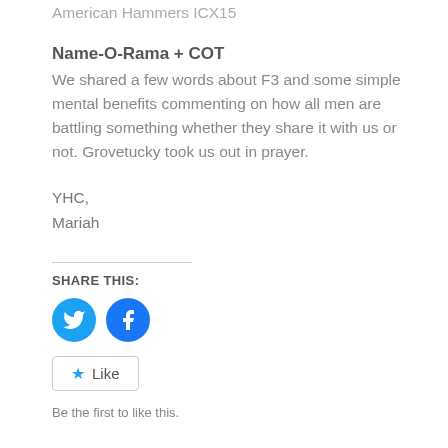American Hammers ICX15
Name-O-Rama + COT
We shared a few words about F3 and some simple mental benefits commenting on how all men are battling something whether they share it with us or not. Grovetucky took us out in prayer.
YHC,
Mariah
SHARE THIS:
[Figure (other): Twitter and Facebook share icon buttons (circular blue icons)]
[Figure (other): Like button with star icon and text 'Be the first to like this.']